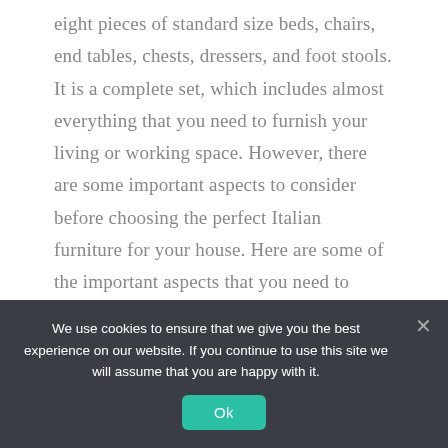eight pieces of standard size beds, chairs, end tables, chests, dressers, and foot stools. It is a complete set, which includes almost everything that you need to furnish your living or working space. However, there are some important aspects to consider before choosing the perfect Italian furniture for your house. Here are some of the important aspects that you need to check out when buying a sofa set.
We use cookies to ensure that we give you the best experience on our website. If you continue to use this site we will assume that you are happy with it.